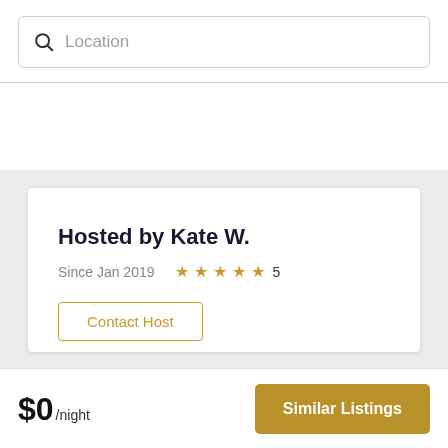[Figure (screenshot): Search bar with magnifying glass icon and 'Location' placeholder text]
[Figure (screenshot): Host info card showing 'Hosted by Kate W.', Since Jan 2019, 5-star rating, and Contact Host button]
$0/night
Similar Listings